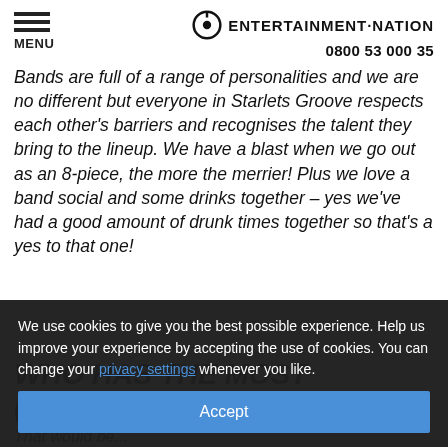MENU | ENTERTAINMENT·NATION | 0800 53 000 35
Bands are full of a range of personalities and we are no different but everyone in Starlets Groove respects each other's barriers and recognises the talent they bring to the lineup. We have a blast when we go out as an 8-piece, the more the merrier! Plus we love a band social and some drinks together – yes we've had a good amount of drunk times together so that's a yes to that one!
We use cookies to give you the best possible experience. Help us improve your experience by accepting the use of cookies. You can change your privacy settings whenever you like.
WHO HAS THE MOST (AND WHAT IS IT)?
That would be...